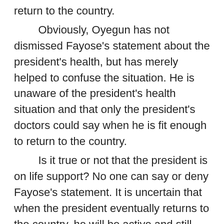return to the country.

Obviously, Oyegun has not dismissed Fayose's statement about the president's health, but has merely helped to confuse the situation. He is unaware of the president's health situation and that only the president's doctors could say when he is fit enough to return to the country.

Is it true or not that the president is on life support? No one can say or deny Fayose's statement. It is uncertain that when the president eventually returns to the country, he will be active and still not return to London's undisclosed location, where he has become hostage to some unknown doctors.

The last time the president returned to the country, he was almost incommunicado, before he returned to his undisclosed medical location in London. The president's sickness, his condition and the location of the hospital - where he is receiving medical attention, are shrouded in secrecy.